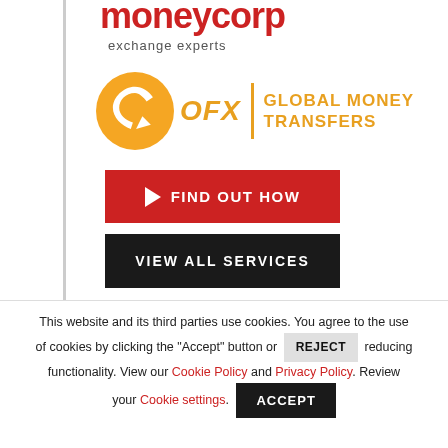[Figure (logo): moneycorp exchange experts logo — partially cropped at top]
[Figure (logo): OFX Global Money Transfers logo with orange circle icon, OFX text, vertical divider, and GLOBAL MONEY TRANSFERS text]
[Figure (other): Red button with cursor icon and text FIND OUT HOW]
[Figure (other): Black button with text VIEW ALL SERVICES]
This website and its third parties use cookies. You agree to the use of cookies by clicking the "Accept" button or REJECT reducing functionality. View our Cookie Policy and Privacy Policy. Review your Cookie settings. ACCEPT